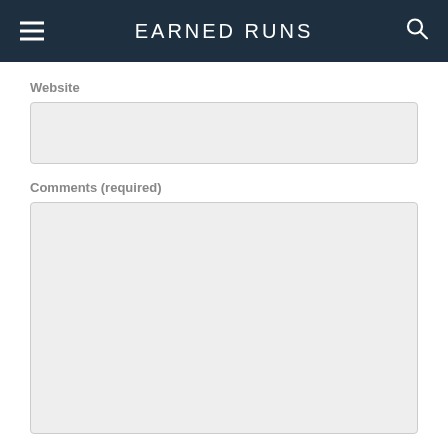EARNED RUNS
Website
Comments (required)
Notify me of new comments to this post by email